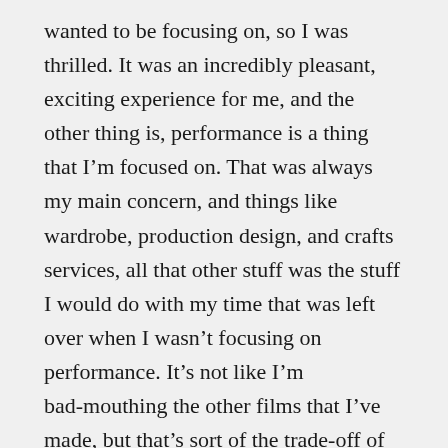wanted to be focusing on, so I was thrilled. It was an incredibly pleasant, exciting experience for me, and the other thing is, performance is a thing that I'm focused on. That was always my main concern, and things like wardrobe, production design, and crafts services, all that other stuff was the stuff I would do with my time that was left over when I wasn't focusing on performance. It's not like I'm bad-mouthing the other films that I've made, but that's sort of the trade-off of working that way, and the benefit of working that way was that there are performances in some of my really small movies that I'm really proud of, that are super intimate and absolutely influenced by the fact that people were wearing their real